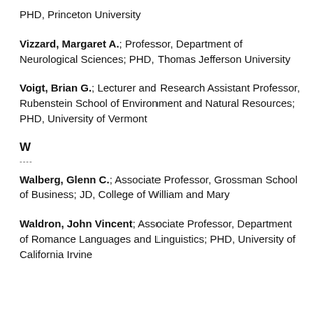PHD, Princeton University
Vizzard, Margaret A.; Professor, Department of Neurological Sciences; PHD, Thomas Jefferson University
Voigt, Brian G.; Lecturer and Research Assistant Professor, Rubenstein School of Environment and Natural Resources; PHD, University of Vermont
W
Walberg, Glenn C.; Associate Professor, Grossman School of Business; JD, College of William and Mary
Waldron, John Vincent; Associate Professor, Department of Romance Languages and Linguistics; PHD, University of California Irvine